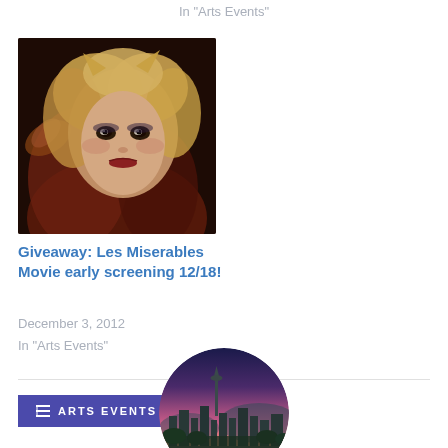In "Arts Events"
[Figure (photo): Movie promotional image showing a woman with curly blonde hair and dramatic makeup from Les Miserables]
Giveaway: Les Miserables Movie early screening 12/18!
December 3, 2012
In "Arts Events"
ARTS EVENTS
[Figure (photo): Circular cropped aerial photo of Seattle skyline with Space Needle at sunset/dusk with pink and purple sky]